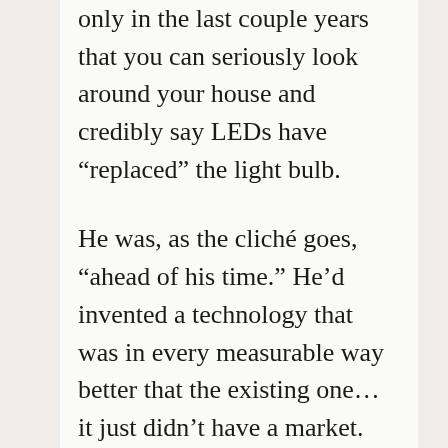only in the last couple years that you can seriously look around your house and credibly say LEDs have “replaced” the light bulb.
He was, as the cliché goes, “ahead of his time.” He’d invented a technology that was in every measurable way better that the existing one… it just didn’t have a market.
In 2012 — the 50th anniversary of his invention – Holonyak finally started to get some recognition. He told reporters